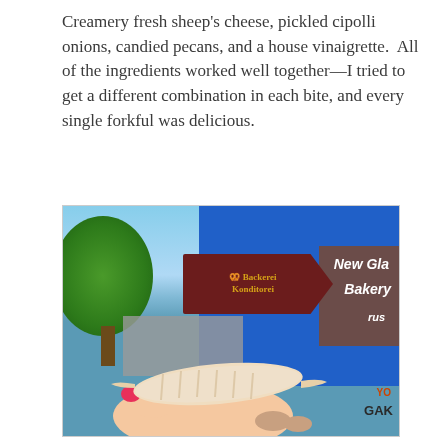Creamery fresh sheep's cheese, pickled cipolli onions, candied pecans, and a house vinaigrette.  All of the ingredients worked well together—I tried to get a different combination in each bite, and every single forkful was delicious.
[Figure (photo): A hand with pink nail polish holding a pastry (appears to be a croissant or roll) in front of a German bakery sign reading 'Backerei Konditorei' with a blue awning showing 'New Gla Bakery' partially visible.]